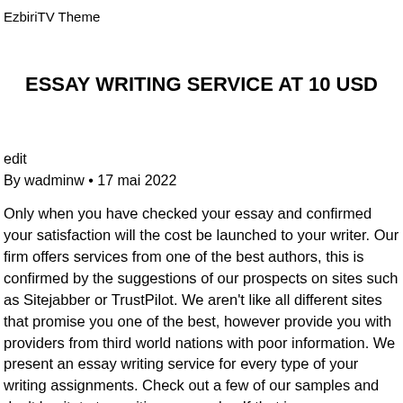EzbiriTV Theme
ESSAY WRITING SERVICE AT 10 USD
edit
By wadminw • 17 mai 2022
Only when you have checked your essay and confirmed your satisfaction will the cost be launched to your writer. Our firm offers services from one of the best authors, this is confirmed by the suggestions of our prospects on sites such as Sitejabber or TrustPilot. We aren't like all different sites that promise you one of the best, however provide you with providers from third world nations with poor information. We present an essay writing service for every type of your writing assignments. Check out a few of our samples and don't hesitate to position your order. If that is